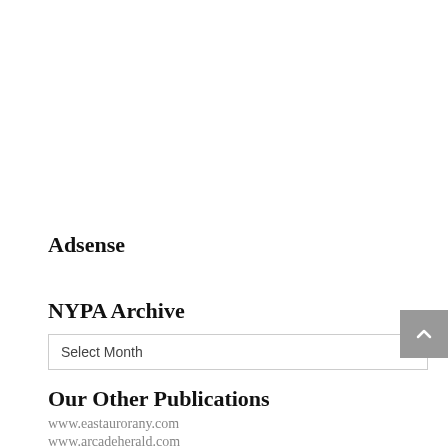Adsense
NYPA Archive
Select Month
Our Other Publications
www.eastaurorany.com
www.arcadeherald.com